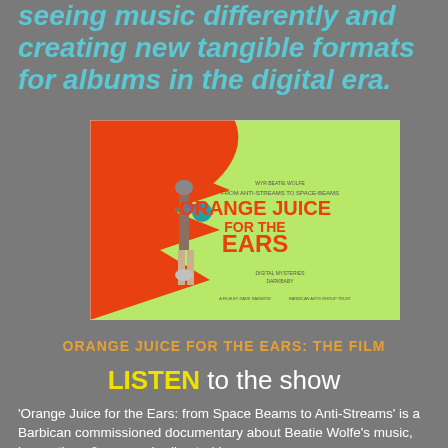seeing music differently and creating new tangible formats for albums in the digital era.
[Figure (photo): Movie poster for 'Orange Juice for the Ears: From Anti-Streams to Space Beams' featuring a figure in a futuristic outfit standing against an orange and green background with the film title in large orange text.]
ORANGE JUICE FOR THE EARS: THE FILM
LISTEN to the show
'Orange Juice for the Ears: from Space Beams to Anti-Streams' is a Barbican commissioned documentary about Beatie Wolfe's music, innovations & approach, directed by